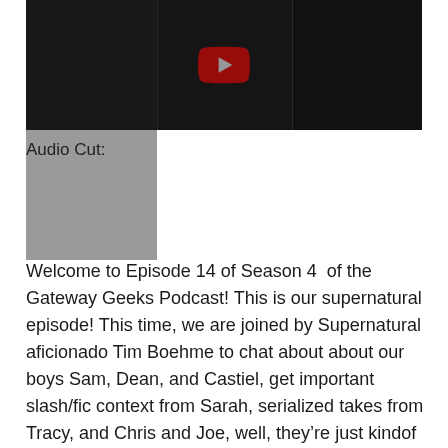[Figure (screenshot): YouTube video thumbnail showing multiple people on a video call with a red YouTube play button overlay in the center, dark background.]
Audio Cut:
Welcome to Episode 14 of Season 4  of the Gateway Geeks Podcast! This is our supernatural episode! This time, we are joined by Supernatural aficionado Tim Boehme to chat about about our boys Sam, Dean, and Castiel, get important slash/fic context from Sarah, serialized takes from Tracy, and Chris and Joe, well, they’re just kindof winging it this time. Grab a coffee to go and buckle in, we’re hitting the